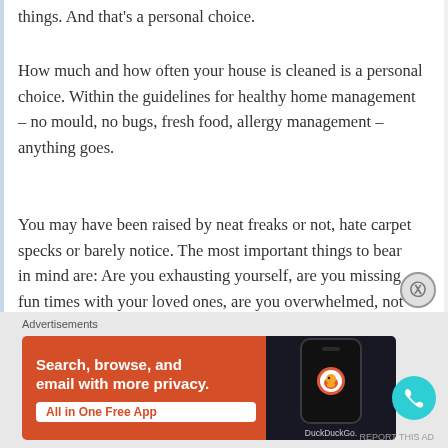things. And that's a personal choice.
How much and how often your house is cleaned is a personal choice. Within the guidelines for healthy home management – no mould, no bugs, fresh food, allergy management – anything goes.
You may have been raised by neat freaks or not, hate carpet specks or barely notice. The most important things to bear in mind are: Are you exhausting yourself, are you missing fun times with your loved ones, are you overwhelmed, not coping or feeling hopeless about everything that needs to be done. If you said yes, something needs to change.
[Figure (screenshot): DuckDuckGo advertisement banner with orange background showing the text 'Search, browse, and email with more privacy. All in One Free App' with a phone mockup displaying DuckDuckGo logo.]